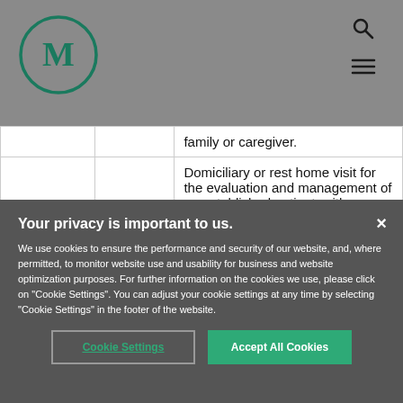[Figure (logo): Circular logo with letter M in dark teal/green]
|  |  | family or caregiver. |
|  |  | Domiciliary or rest home visit for the evaluation and management of an established patient, which requires at least 2 of these 3 key components: An expanded... |
Your privacy is important to us.
We use cookies to ensure the performance and security of our website, and, where permitted, to monitor website use and usability for business and website optimization purposes. For further information on the cookies we use, please click on "Cookie Settings". You can adjust your cookie settings at any time by selecting "Cookie Settings" in the footer of the website.
Cookie Settings
Accept All Cookies